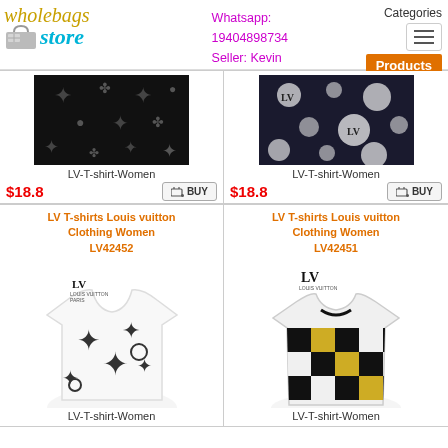[Figure (logo): Wholebags Store logo with bag icon, orange/gold italic text 'wholebags' and cyan 'store']
Whatsapp:
19404898734
Seller: Kevin
Categories
[Figure (other): Hamburger menu icon]
Products
[Figure (photo): LV T-shirt Women product image - black fabric with LV monogram pattern]
LV-T-shirt-Women
$18.8
[Figure (photo): LV T-shirt Women product image - black/white tie-dye LV monogram pattern]
LV-T-shirt-Women
$18.8
LV T-shirts Louis vuitton Clothing Women LV42452
LV T-shirts Louis vuitton Clothing Women LV42451
[Figure (photo): LV T-shirt Women white with large LV monograms scattered across it]
LV-T-shirt-Women
[Figure (photo): LV T-shirt Women checkered black/white pattern with gold LV accents]
LV-T-shirt-Women